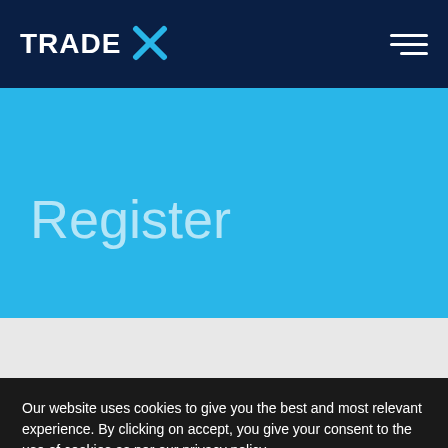TRADE X
Register
Our website uses cookies to give you the best and most relevant experience. By clicking on accept, you give your consent to the use of cookies as per our privacy policy.
Accept
Deny